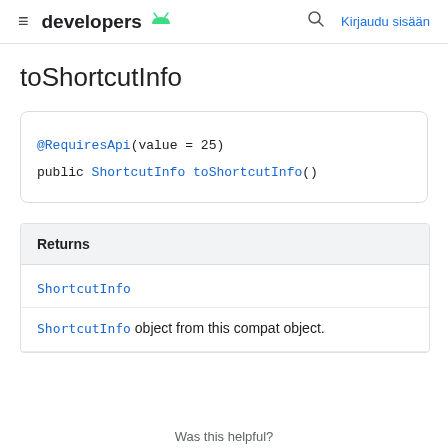developers  Kirjaudu sisään
toShortcutInfo
@RequiresApi(value = 25)
public ShortcutInfo toShortcutInfo()
| Returns |
| --- |
| ShortcutInfo |
| ShortcutInfo object from this compat object. |
Was this helpful?